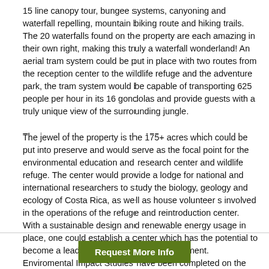15 line canopy tour, bungee systems, canyoning and waterfall repelling, mountain biking route and hiking trails. The 20 waterfalls found on the property are each amazing in their own right, making this truly a waterfall wonderland! An aerial tram system could be put in place with two routes from the reception center to the wildlife refuge and the adventure park, the tram system would be capable of transporting 625 people per hour in its 16 gondolas and provide guests with a truly unique view of the surrounding jungle.
The jewel of the property is the 175+ acres which could be put into preserve and would serve as the focal point for the environmental education and research center and wildlife refuge. The center would provide a lodge for national and international researchers to study the biology, geology and ecology of Costa Rica, as well as house volunteer s involved in the operations of the refuge and reintroduction center. With a sustainable design and renewable energy usage in place, one could establish a center which has the potential to become a leader in the conservation movement. Enviromental Impact Studies have been completed on the property, as well as the following studies required by SETENA:
Request More Info